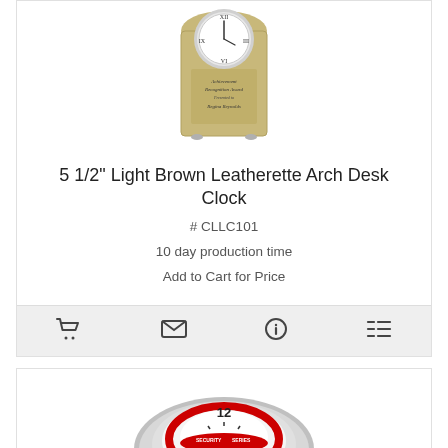[Figure (photo): Light brown leatherette arch desk clock with engraving showing 'Achievement Recognition Award Presented to Regina Reynolds']
5 1/2" Light Brown Leatherette Arch Desk Clock
# CLLC101
10 day production time
Add to Cart for Price
[Figure (photo): Round chrome desk clock with red ring accent, showing number 12 at top]